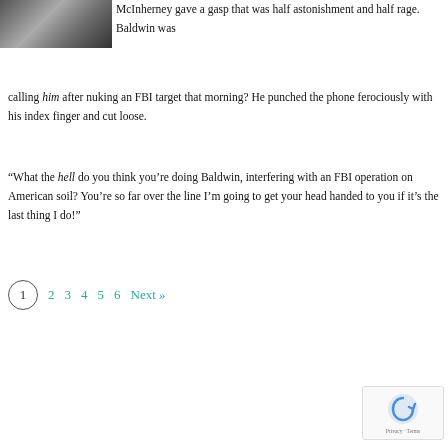[Figure (photo): Black and white portrait photo of a person]
McInherney gave a gasp that was half astonishment and half rage. Baldwin was calling him after nuking an FBI target that morning? He punched the phone ferociously with his index finger and cut loose.
“What the hell do you think you’re doing Baldwin, interfering with an FBI operation on American soil? You’re so far over the line I’m going to get your head handed to you if it’s the last thing I do!”
1  2  3  4  5  6  Next »